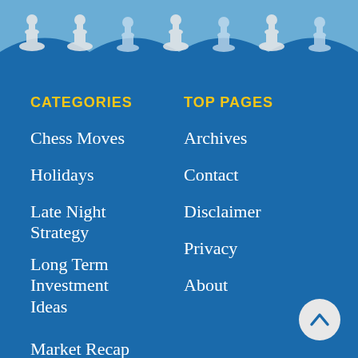[Figure (illustration): Chess pieces silhouettes in light blue and white against a slightly lighter blue background header strip]
CATEGORIES
TOP PAGES
Chess Moves
Holidays
Late Night Strategy
Long Term Investment Ideas
Market Recap
Movies
Trading Ideas
Uncategorized
Archives
Contact
Disclaimer
Privacy
About